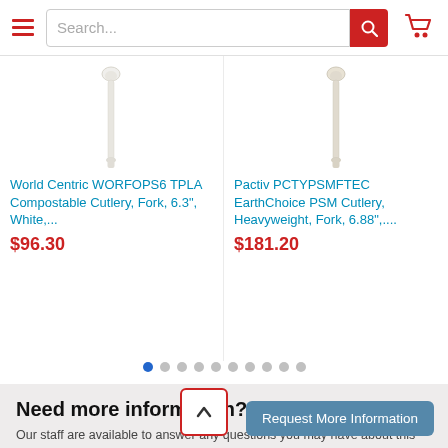Search... [search button] [cart icon]
[Figure (photo): White plastic fork utensil, World Centric TPLA compostable]
World Centric WORFOPS6 TPLA Compostable Cutlery, Fork, 6.3", White,...
$96.30
[Figure (photo): Beige/tan plastic fork utensil, Pactiv EarthChoice PSM heavyweight]
Pactiv PCTYPSMFTEC EarthChoice PSM Cutlery, Heavyweight, Fork, 6.88",...
$181.20
Need more information?
Our staff are available to answer any questions you may have about this item
Request More Information